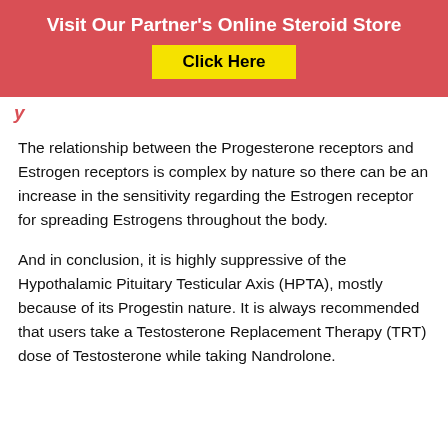Visit Our Partner's Online Steroid Store
Click Here
y
The relationship between the Progesterone receptors and Estrogen receptors is complex by nature so there can be an increase in the sensitivity regarding the Estrogen receptor for spreading Estrogens throughout the body.
And in conclusion, it is highly suppressive of the Hypothalamic Pituitary Testicular Axis (HPTA), mostly because of its Progestin nature. It is always recommended that users take a Testosterone Replacement Therapy (TRT) dose of Testosterone while taking Nandrolone.